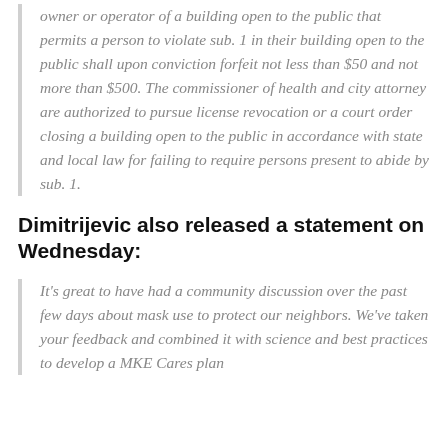owner or operator of a building open to the public that permits a person to violate sub. 1 in their building open to the public shall upon conviction forfeit not less than $50 and not more than $500. The commissioner of health and city attorney are authorized to pursue license revocation or a court order closing a building open to the public in accordance with state and local law for failing to require persons present to abide by sub. 1.
Dimitrijevic also released a statement on Wednesday:
It's great to have had a community discussion over the past few days about mask use to protect our neighbors. We've taken your feedback and combined it with science and best practices to develop a MKE Cares plan